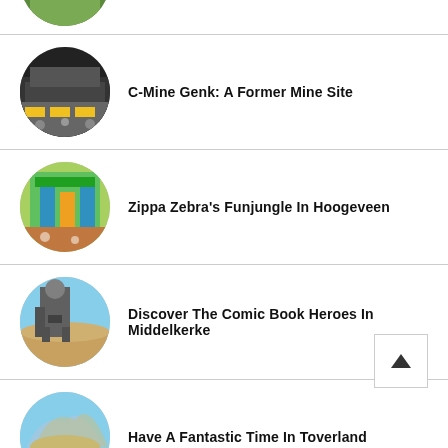[Figure (photo): Partial circular thumbnail at top of page, cropped, showing greenery]
C-Mine Genk: A Former Mine Site
Zippa Zebra's Funjungle In Hoogeveen
Discover The Comic Book Heroes In Middelkerke
Have A Fantastic Time In Toverland
[Figure (photo): Partial circular thumbnail at bottom of page, cropped, showing blue sky]
[Figure (illustration): Back to top button with upward arrow]